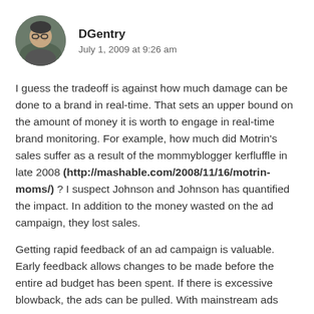DGentry
July 1, 2009 at 9:26 am
I guess the tradeoff is against how much damage can be done to a brand in real-time. That sets an upper bound on the amount of money it is worth to engage in real-time brand monitoring. For example, how much did Motrin's sales suffer as a result of the mommyblogger kerfluffle in late 2008 (http://mashable.com/2008/11/16/motrin-moms/) ? I suspect Johnson and Johnson has quantified the impact. In addition to the money wasted on the ad campaign, they lost sales.
Getting rapid feedback of an ad campaign is valuable. Early feedback allows changes to be made before the entire ad budget has been spent. If there is excessive blowback, the ads can be pulled. With mainstream ads...